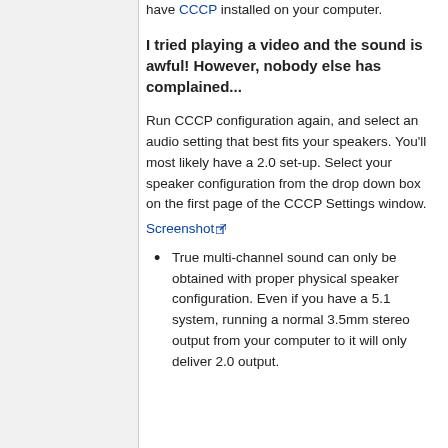have CCCP installed on your computer.
I tried playing a video and the sound is awful! However, nobody else has complained...
Run CCCP configuration again, and select an audio setting that best fits your speakers. You'll most likely have a 2.0 set-up. Select your speaker configuration from the drop down box on the first page of the CCCP Settings window.
Screenshot
True multi-channel sound can only be obtained with proper physical speaker configuration. Even if you have a 5.1 system, running a normal 3.5mm stereo output from your computer to it will only deliver 2.0 output.